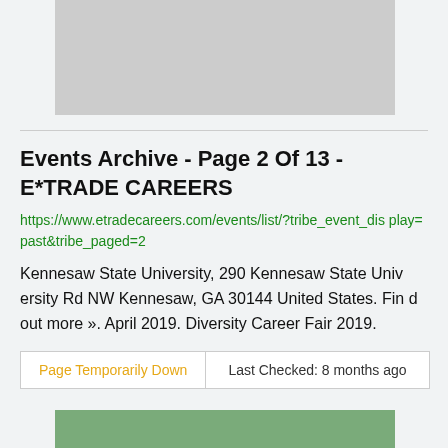[Figure (other): Gray placeholder image box at top of page]
Events Archive - Page 2 Of 13 - E*TRADE CAREERS
https://www.etradecareers.com/events/list/?tribe_event_display=past&tribe_paged=2
Kennesaw State University, 290 Kennesaw State University Rd NW Kennesaw, GA 30144 United States. Find out more ». April 2019. Diversity Career Fair 2019.
Page Temporarily Down | Last Checked: 8 months ago
[Figure (other): Green-tinted placeholder image box at bottom of page]